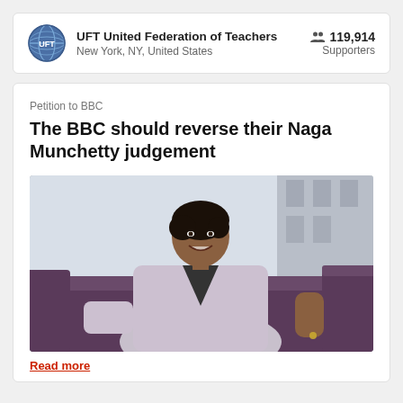UFT United Federation of Teachers
New York, NY, United States
119,914 Supporters
Petition to BBC
The BBC should reverse their Naga Munchetty judgement
[Figure (photo): Portrait photo of Naga Munchetty seated on a purple/dark sofa, wearing a light grey wrap blouse, smiling, with an office/studio background visible.]
Read more